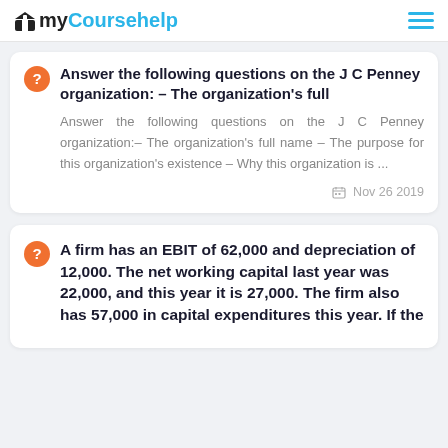myCoursehelp
Answer the following questions on the J C Penney organization: – The organization's full
Answer the following questions on the J C Penney organization:– The organization's full name – The purpose for this organization's existence – Why this organization is ...
Nov 26 2019
A firm has an EBIT of 62,000 and depreciation of 12,000. The net working capital last year was 22,000, and this year it is 27,000. The firm also has 57,000 in capital expenditures this year. If the